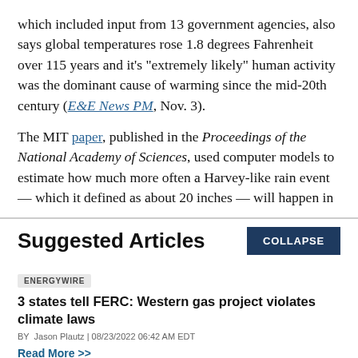which included input from 13 government agencies, also says global temperatures rose 1.8 degrees Fahrenheit over 115 years and it's "extremely likely" human activity was the dominant cause of warming since the mid-20th century (E&E News PM, Nov. 3).
The MIT paper, published in the Proceedings of the National Academy of Sciences, used computer models to estimate how much more often a Harvey-like rain event — which it defined as about 20 inches — will happen in
Suggested Articles
ENERGYWIRE
3 states tell FERC: Western gas project violates climate laws
BY Jason Plautz | 08/23/2022 06:42 AM EDT
Read More >>
ENERGYWIRE
Gulf oil industry embraces offshore wind — to a point